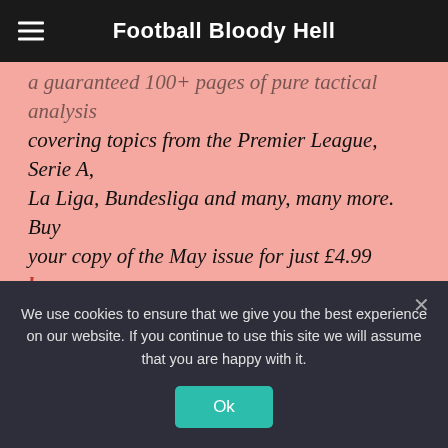Football Bloody Hell
a guaranteed 100+ pages of pure tactical analysis covering topics from the Premier League, Serie A, La Liga, Bundesliga and many, many more. Buy your copy of the May issue for just £4.99 here, or even better sign up for a £50 annual membership (12 monthly issues plus the annual review) right here.
[Figure (other): Social share buttons row: Facebook, Twitter, WhatsApp, LinkedIn, Reddit, Email, Telegram]
We use cookies to ensure that we give you the best experience on our website. If you continue to use this site we will assume that you are happy with it.